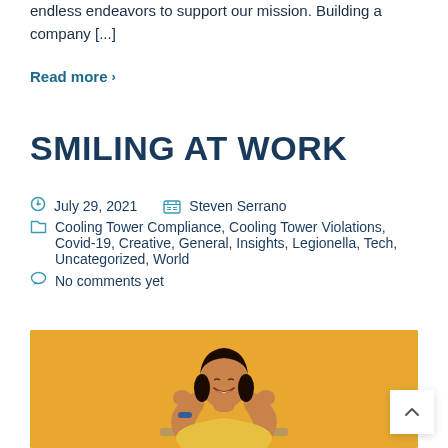endless endeavors to support our mission. Building a company [...]
Read more ›
SMILING AT WORK
July 29, 2021   Steven Serrano
Cooling Tower Compliance, Cooling Tower Violations, Covid-19, Creative, General, Insights, Legionella, Tech, Uncategorized, World
No comments yet
[Figure (photo): A woman in a yellow top smiling joyfully with eyes closed and fists raised, sitting in front of a laptop against an orange/golden background.]